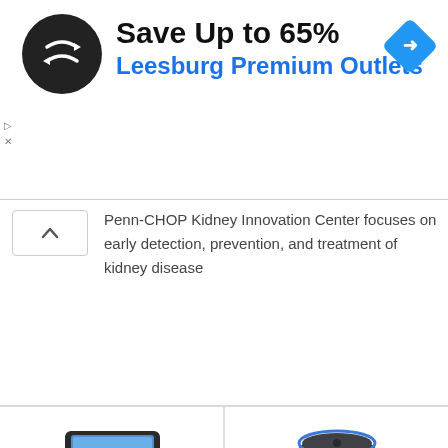[Figure (infographic): Advertisement banner: circular black icon with overlapping arrows logo, text 'Save Up to 65% Leesburg Premium Outlets', blue diamond navigation icon, small ad/close labels on left]
Penn-CHOP Kidney Innovation Center focuses on early detection, prevention, and treatment of kidney disease
[Figure (photo): Amazon Echo Show 5 (2nd Gen) smart display device]
Echo Show 5 (2nd Gen, 2021 release) | Smart
$39.99 $84.99 prime ★★★★☆ (97,502)
[Figure (photo): Amazon Echo Dot (3rd Gen, 2018) smart speaker in charcoal]
Echo Dot (3rd Gen, 2018 release) - Smart speaker
$29.99 $39.99 prime ★★★★☆ (943,799)